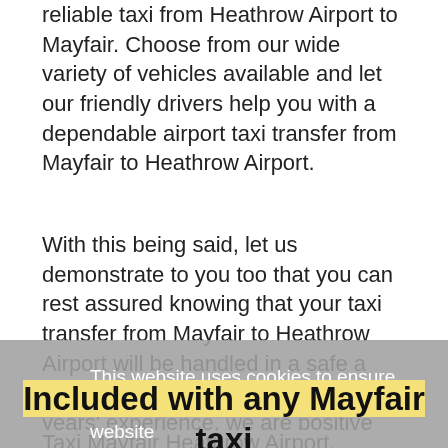reliable taxi from Heathrow Airport to Mayfair. Choose from our wide variety of vehicles available and let our friendly drivers help you with a dependable airport taxi transfer from Mayfair to Heathrow Airport.
With this being said, let us demonstrate to you too that you can rest assured knowing that your taxi transfer from Mayfair to Heathrow Airport will be handled in a safe a professional manner. With over 10 years' experience, we are positive that you too can become a frequent user and experience more than just a transfer with our Heathrow Airport taxi to Mayfair.
This website uses cookies to ensure you get the best experience on our website
Learn more
Included with any Mayfair taxi transfer
Taxi Mayfair Heathrow Airport, starting from...